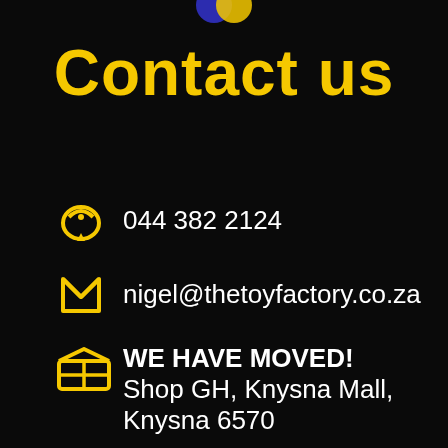[Figure (logo): Partial blue and yellow logo/icon visible at top center]
Contact us
044 382 2124
nigel@thetoyfactory.co.za
WE HAVE MOVED! Shop GH, Knysna Mall, Knysna 6570